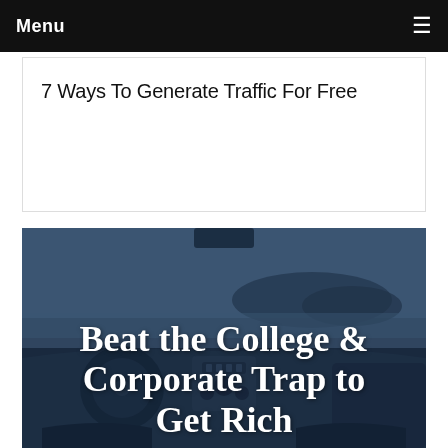Menu
7 Ways To Generate Traffic For Free
[Figure (photo): Car interior view from driver seat showing dashboard and windshield with ocean/mountain scenery outside, with overlaid bold white text 'Beat the College & Corporate Trap to Get Rich']
Beat the College & Corporate Trap to Get Rich